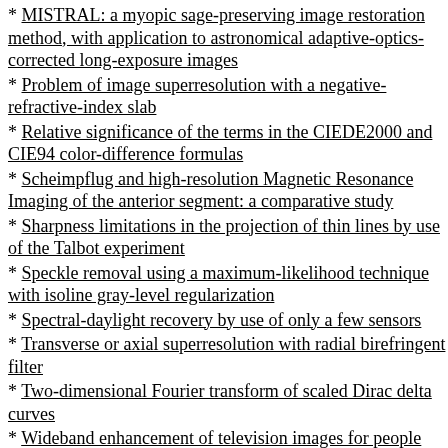* MISTRAL: a myopic sage-preserving image restoration method, with application to astronomical adaptive-optics-corrected long-exposure images
* Problem of image superresolution with a negative-refractive-index slab
* Relative significance of the terms in the CIEDE2000 and CIE94 color-difference formulas
* Scheimpflug and high-resolution Magnetic Resonance Imaging of the anterior segment: a comparative study
* Sharpness limitations in the projection of thin lines by use of the Talbot experiment
* Speckle removal using a maximum-likelihood technique with isoline gray-level regularization
* Spectral-daylight recovery by use of only a few sensors
* Transverse or axial superresolution with radial birefringent filter
* Two-dimensional Fourier transform of scaled Dirac delta curves
* Wideband enhancement of television images for people with visual impairments
27 for JOSA-A(21)
JOSA-A(22) * Adaptive autofocusing: a closed-loop perspective
* Amplitude-based height-reconstruction techniques for synthetic aperture ladar systems